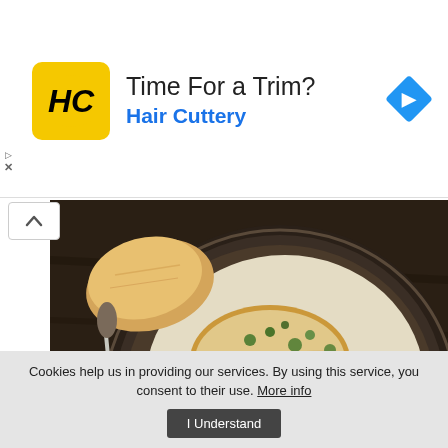[Figure (screenshot): Advertisement banner for Hair Cuttery with yellow logo, text 'Time For a Trim?' and 'Hair Cuttery', and a blue navigation diamond icon on the right]
[Figure (photo): Food photo showing a cast iron pan with chicken steak with asparagus and creamy garlic sauce, with bread and cutlery on a dark wooden table with a gray linen napkin. A green heart/favorite button is in the bottom right.]
recipes
Chicken steak with asparagus and creamy garlic sauce
Cookies help us in providing our services. By using this service, you consent to their use. More info